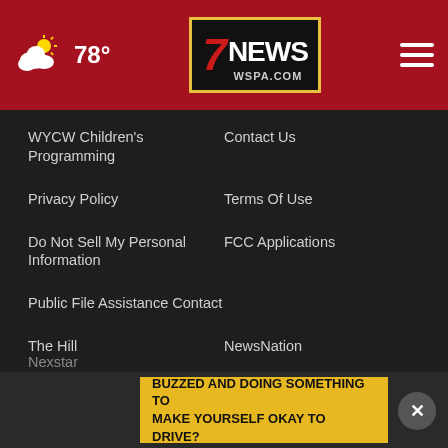78° | 7 NEWS WSPA.COM
WYCW Children's Programming
Contact Us
Privacy Policy
Terms Of Use
Do Not Sell My Personal Information
FCC Applications
Public File Assistance Contact
The Hill
NewsNation
BestReviews
Content Licensing
Nexstar
BUZZED AND DOING SOMETHING TO MAKE YOURSELF OKAY TO DRIVE?